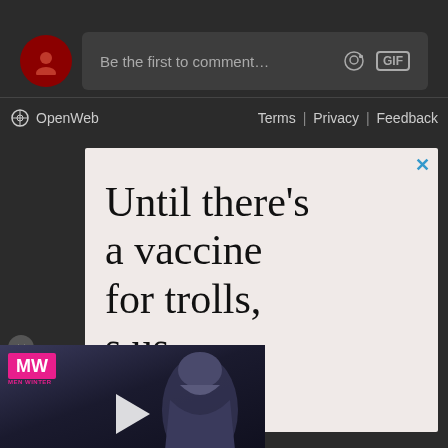[Figure (screenshot): Comment input bar with avatar circle on left, placeholder text 'Be the first to comment...' with camera and GIF icons on right, on dark background]
OpenWeb   Terms | Privacy | Feedback
[Figure (screenshot): Advertisement with light pink/cream background reading 'Until there’s a vaccine for trolls, [trusts] us.' with an X close button]
[Figure (screenshot): Video overlay showing 'GAME OF THRONES STYLE GAMES' with MW logo in pink, a knight/armor figure, and a play button triangle, on dark background]